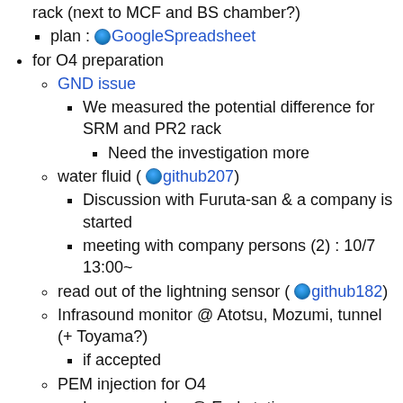rack (next to MCF and BS chamber?)
plan : GoogleSpreadsheet
for O4 preparation
GND issue
We measured the potential difference for SRM and PR2 rack
Need the investigation more
water fluid ( github207)
Discussion with Furuta-san & a company is started
meeting with company persons (2) : 10/7 13:00~
read out of the lightning sensor ( github182)
Infrasound monitor @ Atotsu, Mozumi, tunnel (+ Toyama?)
if accepted
PEM injection for O4
Large speaker @ End station
Magnetic injection by large coil
After O4
RF monitor
Tiltmeter